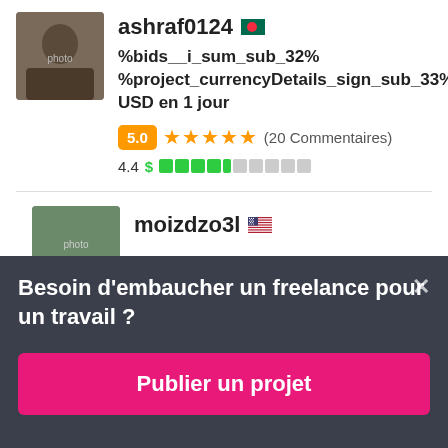ashraf0124 [BD flag]
%bids__i_sum_sub_32% %project_currencyDetails_sign_sub_33% USD en 1 jour
5.0 ★★★★★ (20 Commentaires)
4.4 $ [reputation bar]
moizdzo3l [US flag]
Besoin d'embaucher un freelance pour un travail ?
Publier un projet